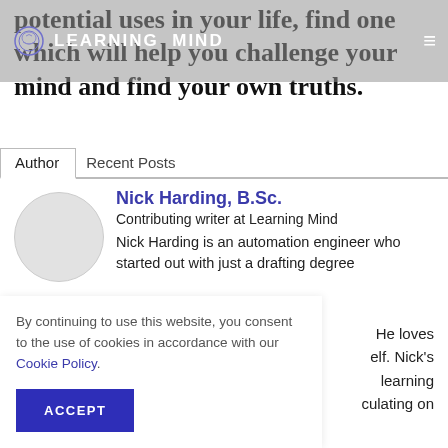LEARNING MIND (logo with brain icon)
potential uses in your life, find one which will help you challenge your mind and find your own truths.
Author | Recent Posts
Nick Harding, B.Sc.
Contributing writer at Learning Mind
Nick Harding is an automation engineer who started out with just a drafting degree... He loves ...lf. Nick's ...learning ...culating on
By continuing to use this website, you consent to the use of cookies in accordance with our Cookie Policy.
ACCEPT